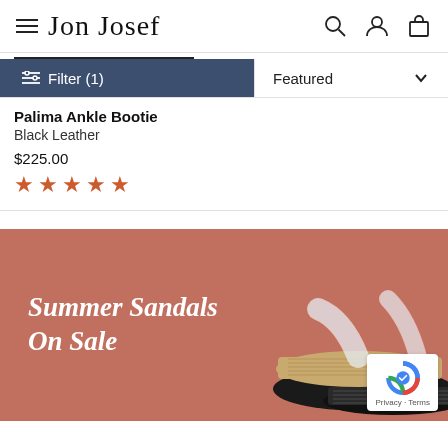Jon Josef
Filter (1)   Featured
Palima Ankle Bootie
Black Leather
$225.00
★★★★★
[Figure (screenshot): Summer Sandals On Sale banner with cork sandals on terracotta background]